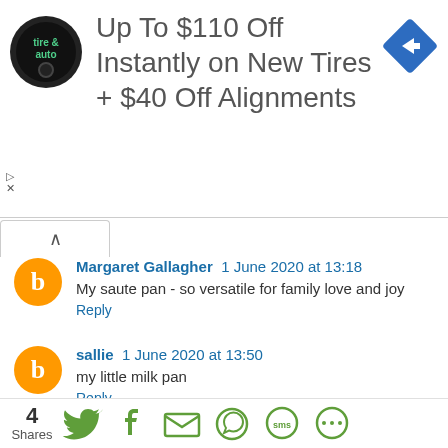[Figure (infographic): Advertisement banner: tire and auto service logo, text 'Up To $110 Off Instantly on New Tires + $40 Off Alignments', blue diamond arrow icon]
Margaret Gallagher 1 June 2020 at 13:18
My saute pan - so versatile for family love and joy
Reply
sallie 1 June 2020 at 13:50
my little milk pan
Reply
Laura Caraher 1 June 2020 at 21:43
4 Shares [Twitter] [Facebook] [Email] [WhatsApp] [SMS] [More]